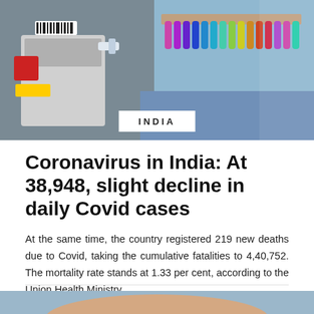[Figure (photo): Laboratory setting with medical equipment, test tubes, and colorful sample vials on a blue background]
INDIA
Coronavirus in India: At 38,948, slight decline in daily Covid cases
At the same time, the country registered 219 new deaths due to Covid, taking the cumulative fatalities to 4,40,752. The mortality rate stands at 1.33 per cent, according to the Union Health Ministry.
Monday 06th September 2021  —  by Newsd
[Figure (photo): Partial view of a person receiving a vaccination injection in the arm]